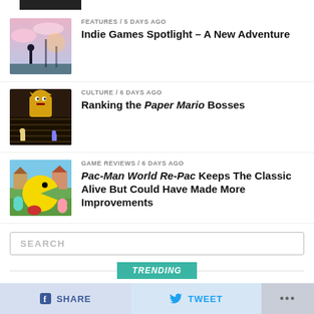[Figure (screenshot): Indie game screenshot with character and sky]
FEATURES / 5 days ago
Indie Games Spotlight – A New Adventure
[Figure (screenshot): Paper Mario boss battle scene with Bowser]
CULTURE / 6 days ago
Ranking the Paper Mario Bosses
[Figure (screenshot): Pac-Man World Re-Pac game screenshot with Pac-Man character]
GAME REVIEWS / 6 days ago
Pac-Man World Re-Pac Keeps The Classic Alive But Could Have Made More Improvements
SEARCH
TRENDING
SHARE
TWEET